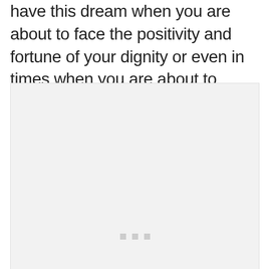have this dream when you are about to face the positivity and fortune of your dignity or even in times when you are about to express your feelings, and most probably, you are about to fall in love.
[Figure (other): A light gray placeholder image box with three small gray square dots centered near the bottom middle of the box.]